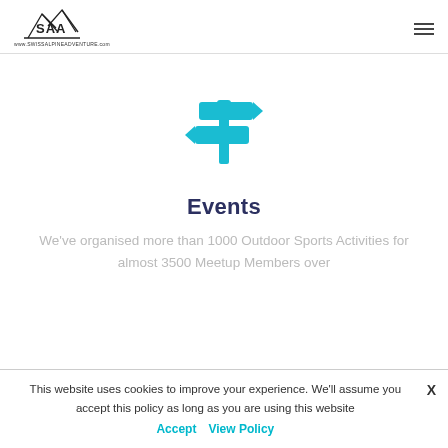[Figure (logo): SAA Swiss Alpine Adventure logo with mountain peaks and text www.SWISSALPINEADVENTURE.com]
[Figure (illustration): Teal/cyan colored signpost icon with two directional signs pointing left and right, on a vertical post]
Events
We've organised more than 1000 Outdoor Sports Activities for almost 3500 Meetup Members over
This website uses cookies to improve your experience. We'll assume you accept this policy as long as you are using this website Accept View Policy